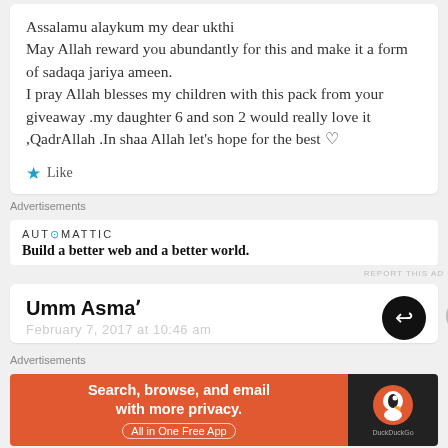Assalamu alaykum my dear ukthi
May Allah reward you abundantly for this and make it a form of sadaqa jariya ameen.
I pray Allah blesses my children with this pack from your giveaway .my daughter 6 and son 2 would really love it ,QadrAllah .In shaa Allah let’s hope for the best ♡
Like
Advertisements
[Figure (other): Automattic advertisement: 'Build a better web and a better world.']
REPORT THIS AD
Umm Asmaʼ
February 7, 2017 at 10:46 am
Advertisements
[Figure (other): DuckDuckGo advertisement: 'Search, browse, and email with more privacy. All in One Free App']
REPORT THIS AD